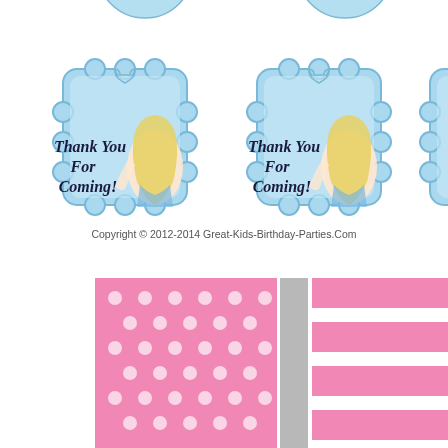[Figure (illustration): Three Frozen Elsa 'Thank You For Coming!' favor tags with snowflake/scalloped blue border shape, heart hole at top. Two full tags visible plus one partial on right edge. Small partial tags visible at very top of page.]
Copyright © 2012-2014 Great-Kids-Birthday-Parties.Com
[Figure (illustration): Bottom section showing a pink polka-dot square pattern, a gray vertical strip, and pink/white horizontal stripes pattern — likely gift wrap or party supply designs.]